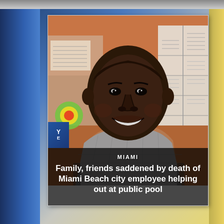[Figure (photo): Screenshot of a TV news broadcast showing a young Black man smiling, wearing a grey checkered shirt, photographed in what appears to a classroom or office setting with colorful decorations and a whiteboard behind him. The image is displayed as a news photo card over a blue studio background.]
MIAMI
Family, friends saddened by death of Miami Beach city employee helping out at public pool